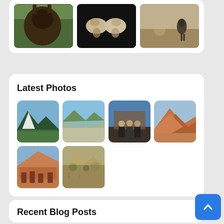[Figure (photo): Three animal photos in a row: moose close-up, dogs/horses from above, bird in terrain]
Latest Photos
[Figure (photo): Grid of 6 outdoor/travel photos: mountain lake, reservoir, group of people at building, red rock formation, red rock ruins, desert landscape]
Recent Blog Posts